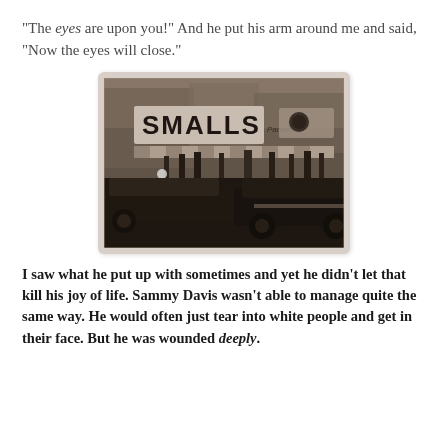"The eyes are upon you!" And he put his arm around me and said, "Now the eyes will close."
[Figure (photo): Black and white photograph of a street scene with a 'SMALLS' storefront sign, vintage cars parked on the street, and people on the sidewalk.]
I saw what he put up with sometimes and yet he didn't let that kill his joy of life. Sammy Davis wasn't able to manage quite the same way. He would often just tear into white people and get in their face. But he was wounded deeply.